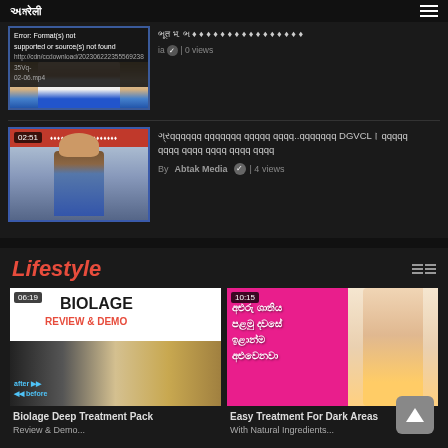[Figure (screenshot): Video thumbnail with error message overlay and person being interviewed. Error text: 'Error: Format(s) not supported or source(s) not found'. URL shown below error.]
સૌ પ્રકૃત્ ભૂત ભૂqvvvv... | 0 views
[Figure (screenshot): Video thumbnail 02:51 duration showing police officer at desk]
ગ્રામchoose ભ્રષ્ટ ભ... DGVCL... By Abtak Media | 4 views
Lifestyle
[Figure (screenshot): Biolage Review & Demo thumbnail 06:19 duration]
Biolage Deep Treatment Pack...
[Figure (screenshot): Easy Treatment For Dark Areas thumbnail 10:15 duration with Sinhala text]
Easy Treatment For Dark Areas...